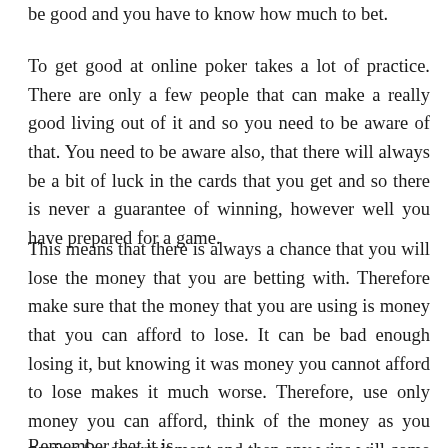be good and you have to know how much to bet.
To get good at online poker takes a lot of practice. There are only a few people that can make a really good living out of it and so you need to be aware of that. You need to be aware also, that there will always be a bit of luck in the cards that you get and so there is never a guarantee of winning, however well you have prepared for a game.
This means that there is always a chance that you will lose the money that you are betting with. Therefore make sure that the money that you are using is money that you can afford to lose. It can be bad enough losing it, but knowing it was money you cannot afford to lose makes it much worse. Therefore, use only money you can afford, think of the money as you paying for entertainment and then any wins will come as pleasure rather than a relief.
Remember that it is...